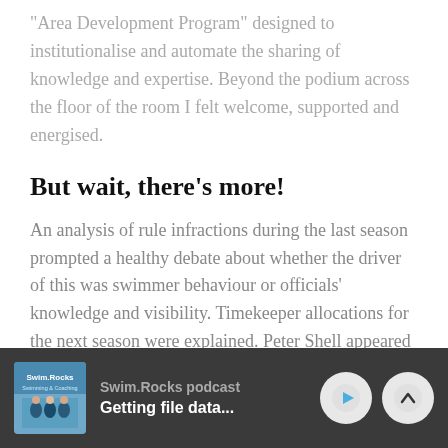“Area Development Program” designed to institutionalise and automate the sharing of knowledge and expertise. Beyond the podium across the floor of the room I felt welcome, supported and energised.
But wait, there’s more!
An analysis of rule infractions during the last season prompted a healthy debate about whether the driver of this was swimmer behaviour or officials’ knowledge and visibility. Timekeeper allocations for the next season were explained. Peter Shell appeared to be auditioning for a part in a daytime TV shopping
Swim.Rocks podcast | Getting file data...